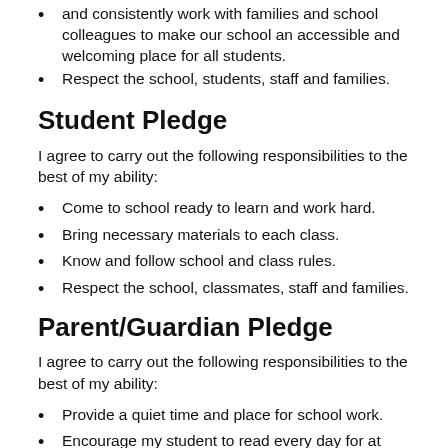and consistently work with families and school colleagues to make our school an accessible and welcoming place for all students.
Respect the school, students, staff and families.
Student Pledge
I agree to carry out the following responsibilities to the best of my ability:
Come to school ready to learn and work hard.
Bring necessary materials to each class.
Know and follow school and class rules.
Respect the school, classmates, staff and families.
Parent/Guardian Pledge
I agree to carry out the following responsibilities to the best of my ability:
Provide a quiet time and place for school work.
Encourage my student to read every day for at least 30 minutes
Ensure that my student attends school every day, etc.